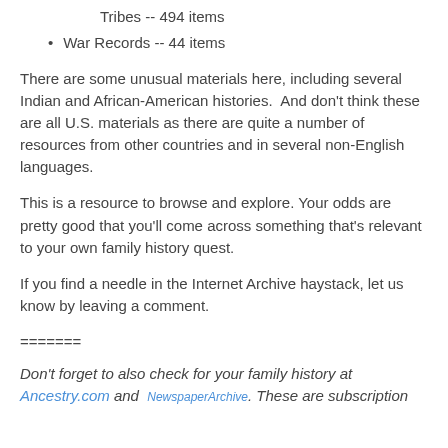Tribes -- 494 items
War Records -- 44 items
There are some unusual materials here, including several Indian and African-American histories.  And don't think these are all U.S. materials as there are quite a number of resources from other countries and in several non-English languages.
This is a resource to browse and explore. Your odds are pretty good that you'll come across something that's relevant to your own family history quest.
If you find a needle in the Internet Archive haystack, let us know by leaving a comment.
=======
Don't forget to also check for your family history at Ancestry.com and NewspaperArchive. These are subscription